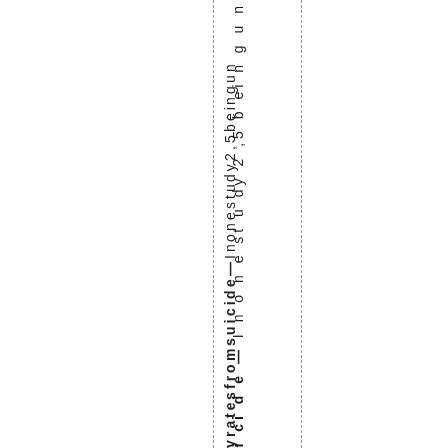y rates from suicide — I none study 2,5 being gun